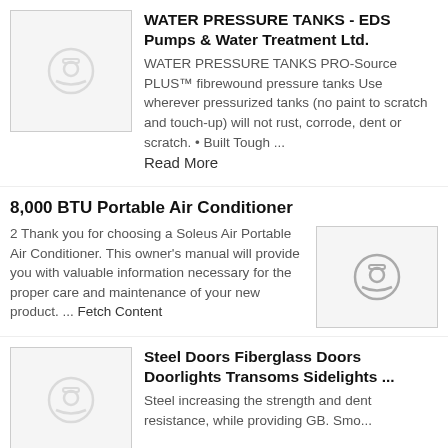[Figure (photo): Placeholder thumbnail image with camera icon]
WATER PRESSURE TANKS - EDS Pumps & Water Treatment Ltd.
WATER PRESSURE TANKS PRO-Source PLUS™ fibrewound pressure tanks Use wherever pressurized tanks (no paint to scratch and touch-up) will not rust, corrode, dent or scratch. • Built Tough ... Read More
8,000 BTU Portable Air Conditioner
2 Thank you for choosing a Soleus Air Portable Air Conditioner. This owner's manual will provide you with valuable information necessary for the proper care and maintenance of your new product. ... Fetch Content
[Figure (photo): Placeholder thumbnail image with camera icon]
[Figure (photo): Placeholder thumbnail image with camera icon]
Steel Doors Fiberglass Doors Doorlights Transoms Sidelights ...
Steel increasing the strength and dent resistance, while providing GB. Smooth...